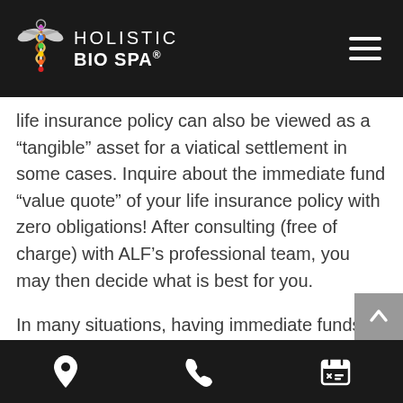HOLISTIC BIO SPA®
life insurance policy can also be viewed as a “tangible” asset for a viatical settlement in some cases. Inquire about the immediate fund “value quote” of your life insurance policy with zero obligations! After consulting (free of charge) with ALF’s professional team, you may then decide what is best for you.
In many situations, having immediate funds to defray the burden of unplanned financial decisions as well as recovery and after-care living expenses have proven to be a sigh of relief to the
location | phone | calendar